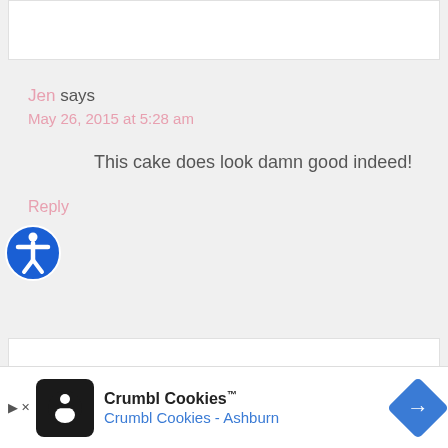[Figure (screenshot): Top white card partial view]
Jen says
May 26, 2015 at 5:28 am
This cake does look damn good indeed!
Reply
thedomesticrebel says
[Figure (screenshot): Crumbl Cookies advertisement banner: Crumbl Cookies™ Crumbl Cookies - Ashburn]